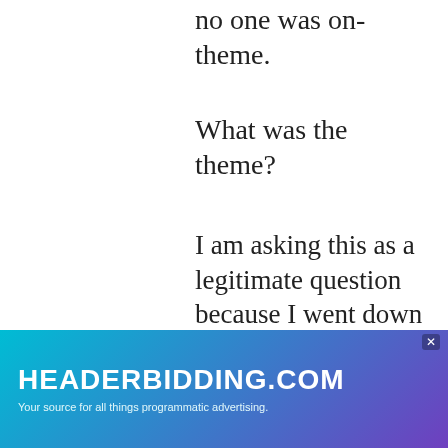no one was on-theme.
What was the theme?
I am asking this as a legitimate question because I went down a rabbit hole. The media reported it as “Gilded Glamour”, inspired by the homonym period in US History, which many predicted would be a cavalcade of … how did
[Figure (logo): HEADERBIDDING.COM advertisement banner with text: Your source for all things programmatic advertising.]